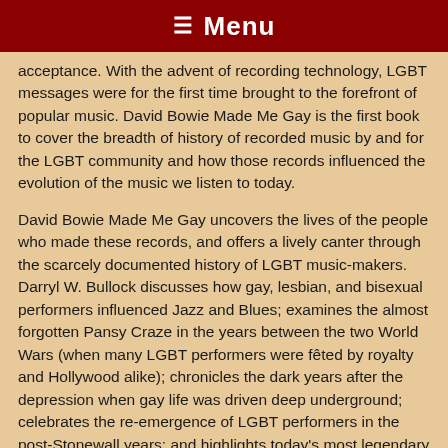☰ Menu
acceptance. With the advent of recording technology, LGBT messages were for the first time brought to the forefront of popular music. David Bowie Made Me Gay is the first book to cover the breadth of history of recorded music by and for the LGBT community and how those records influenced the evolution of the music we listen to today.
David Bowie Made Me Gay uncovers the lives of the people who made these records, and offers a lively canter through the scarcely documented history of LGBT music-makers. Darryl W. Bullock discusses how gay, lesbian, and bisexual performers influenced Jazz and Blues; examines the almost forgotten Pansy Craze in the years between the two World Wars (when many LGBT performers were fêted by royalty and Hollywood alike); chronicles the dark years after the depression when gay life was driven deep underground; celebrates the re-emergence of LGBT performers in the post-Stonewall years; and highlights today's most legendary out-gay pop stars: Elton John, Boy George, Freddie Mercury, and George Michael. "Popular music is the great stealth art form, able to slip past our censors and explore all kinds of